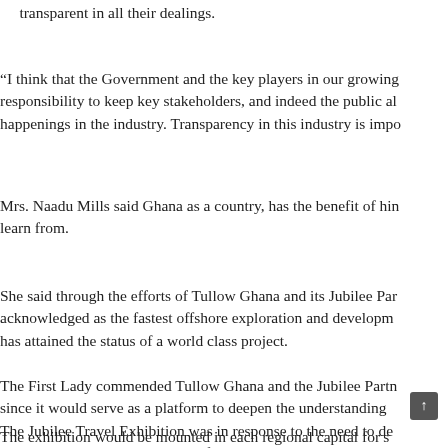transparent in all their dealings.
“I think that the Government and the key players in our growing responsibility to keep key stakeholders, and indeed the public al happenings in the industry. Transparency in this industry is impo
Mrs. Naadu Mills said Ghana as a country, has the benefit of hin learn from.
She said through the efforts of Tullow Ghana and its Jubilee Par acknowledged as the fastest offshore exploration and developm has attained the status of a world class project.
The First Lady commended Tullow Ghana and the Jubilee Partn since it would serve as a platform to deepen the understanding The Jubilee Travel Exhibition was in response to the need to de transparency around Ghana’s oil find.
The exhibition would be mounted in each regional capital fors